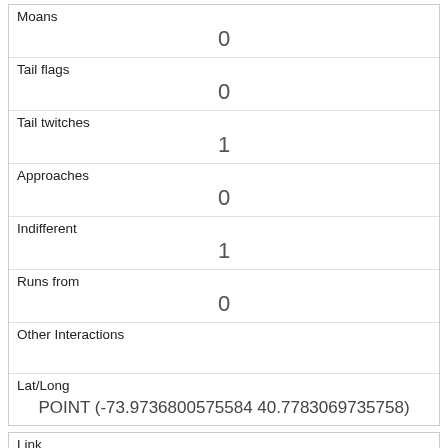| Field | Value |
| --- | --- |
| Moans | 0 |
| Tail flags | 0 |
| Tail twitches | 1 |
| Approaches | 0 |
| Indifferent | 1 |
| Runs from | 0 |
| Other Interactions |  |
| Lat/Long | POINT (-73.9736800575584 40.7783069735758) |
| Field | Value |
| --- | --- |
| Link | 550 |
| rowid | 550 |